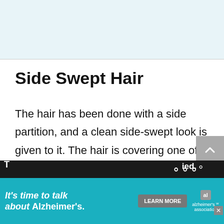[Figure (photo): Image area at top of page, appears to be a cropped photo with teal/blue tones (top of page content image placeholder)]
Side Swept Hair
The hair has been done with a side partition, and a clean side-swept look is given to it. The hair is covering one of the shoulders while the other side has been tucked behind the ears.
[Figure (infographic): Alzheimer's Association advertisement banner at bottom: 'It's time to talk about Alzheimer's.' with LEARN MORE button and alzheimer's association logo. Dark strip above shows partial text content.]